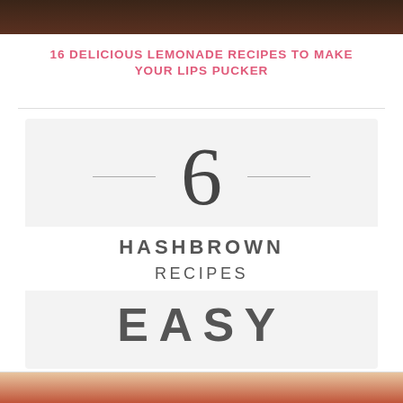[Figure (photo): Dark wooden background image at top of page]
16 DELICIOUS LEMONADE RECIPES TO MAKE YOUR LIPS PUCKER
[Figure (infographic): Card graphic with large number 6, text HASHBROWN RECIPES, and EASY on light grey background]
[Figure (photo): Food photo at bottom showing tomatoes and green herbs]